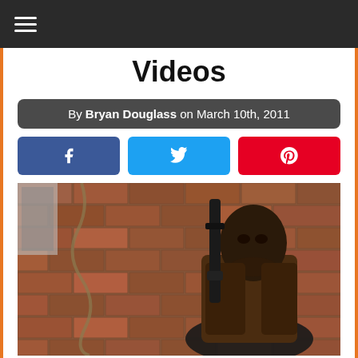≡ (hamburger menu)
Videos
By Bryan Douglass on March 10th, 2011
[Figure (other): Social share buttons: Facebook (blue), Twitter (light blue), Pinterest (red), each with respective icons]
[Figure (photo): A man holding a shotgun, standing against a brick wall, wearing a brown jacket]